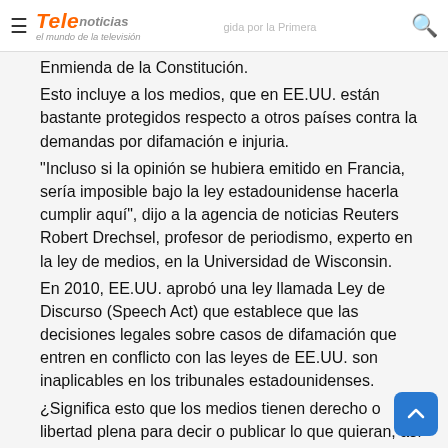Telenoticias - el mundo de la televisión
Enmendada de la Constitución. Esto incluye a los medios, que en EE.UU. están bastante protegidos respecto a otros países contra la demandas por difamación e injuria. "Incluso si la opinión se hubiera emitido en Francia, sería imposible bajo la ley estadounidense hacerla cumplir aquí", dijo a la agencia de noticias Reuters Robert Drechsel, profesor de periodismo, experto en la ley de medios, en la Universidad de Wisconsin. En 2010, EE.UU. aprobó una ley llamada Ley de Discurso (Speech Act) que establece que las decisiones legales sobre casos de difamación que entren en conflicto con las leyes de EE.UU. son inaplicables en los tribunales estadounidenses. ¿Significa esto que los medios tienen derecho o libertad plena para decir o publicar lo que quieran, así sean informaciones evidentemente falsas, como las aseveraciones de Emerson sobre París y Birmingham en Fox News? Para Agnes Callamard, directora del Proyecto Libertad de Expresión Global de la Universidad de Columbia, en Nueva York, la demanda, en caso de que llegue a suceder, no va a tener mayor efecto. "Bajo los estándares internacionales, el periodismo